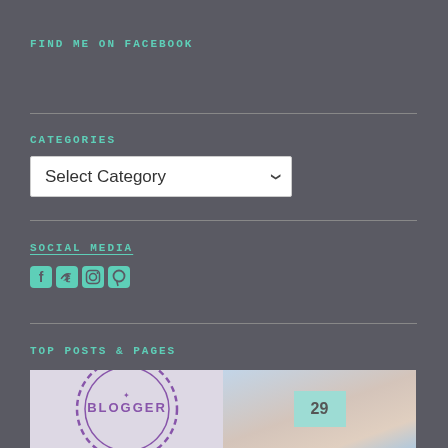FIND ME ON FACEBOOK
CATEGORIES
SOCIAL MEDIA
[Figure (infographic): Social media icons: Facebook, Twitter, Instagram, Pinterest in teal/mint color]
TOP POSTS & PAGES
[Figure (photo): Left image: circular blogger stamp/badge with purple text 'BLOGGER' and dashed border circle. Right image: pastel sky gradient background with teal square and numbers '29' or similar text.]